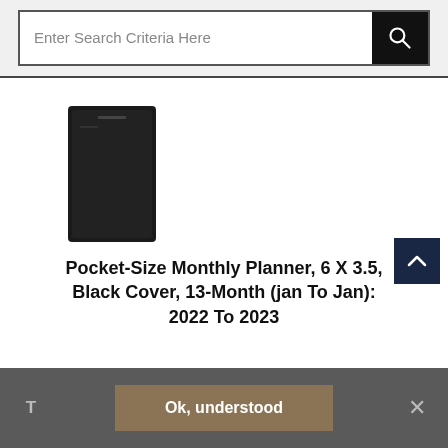[Figure (screenshot): Search bar with text 'Enter Search Criteria Here' and a black search button with magnifying glass icon]
[Figure (photo): Small black pocket planner product image]
Pocket-Size Monthly Planner, 6 X 3.5, Black Cover, 13-Month (jan To Jan): 2022 To 2023
At-A-Glance
Product Code: AAG7006405
Product Unit: Each
Ok, understood